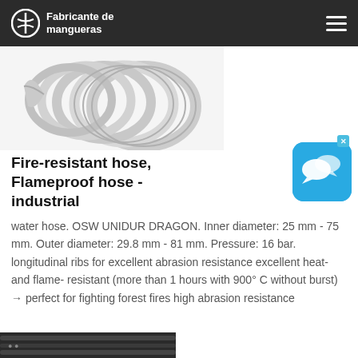Fabricante de mangueras
[Figure (photo): White corrugated spiral hose (OSW UNIDUR DRAGON) coiled, shown on white background]
Fire-resistant hose, Flameproof hose - industrial
water hose. OSW UNIDUR DRAGON. Inner diameter: 25 mm - 75 mm. Outer diameter: 29.8 mm - 81 mm. Pressure: 16 bar. longitudinal ribs for excellent abrasion resistance excellent heat- and flame- resistant (more than 1 hours with 900° C without burst) → perfect for fighting forest fires high abrasion resistance
[Figure (photo): Dark industrial hose, partially visible at bottom of page]